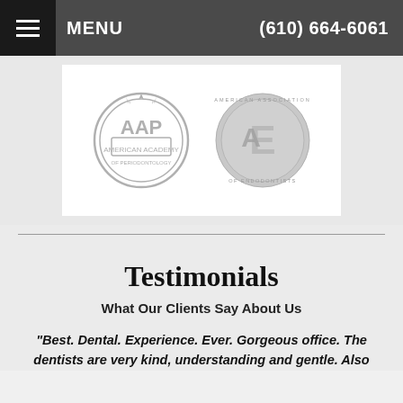MENU   (610) 664-6061
[Figure (logo): Two dental association logos: AAP (American Academy of Periodontology) and AE (American Association of Endodontists), rendered in light gray on a white background]
Testimonials
What Our Clients Say About Us
"Best. Dental. Experience. Ever. Gorgeous office. The dentists are very kind, understanding and gentle. Also